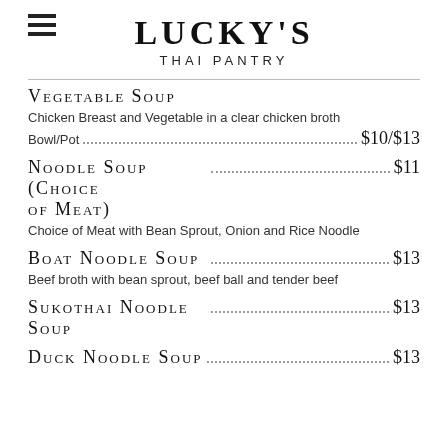LUCKY'S THAI PANTRY
VEGETABLE SOUP
Chicken Breast and Vegetable in a clear chicken broth
Bowl/Pot $10/$13
NOODLE SOUP (CHOICE OF MEAT)
$11
Choice of Meat with Bean Sprout, Onion and Rice Noodle
BOAT NOODLE SOUP
$13
Beef broth with bean sprout, beef ball and tender beef
SUKOTHAI NOODLE SOUP
$13
DUCK NOODLE SOUP
$13